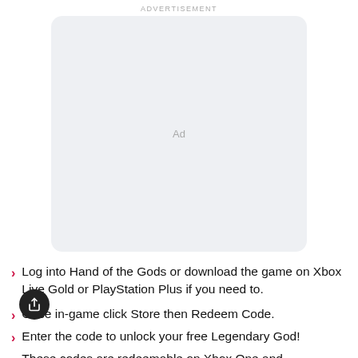ADVERTISEMENT
[Figure (other): Grey rounded rectangle advertisement placeholder box with 'Ad' label in center]
Log into Hand of the Gods or download the game on Xbox Live Gold or PlayStation Plus if you need to.
Once in-game click Store then Redeem Code.
Enter the code to unlock your free Legendary God!
These codes are redeemable on Xbox One and